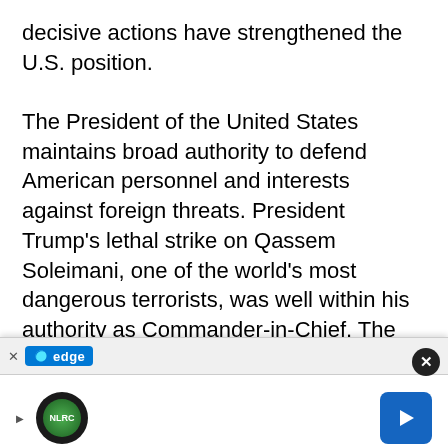decisive actions have strengthened the U.S. position.

The President of the United States maintains broad authority to defend American personnel and interests against foreign threats. President Trump's lethal strike on Qassem Soleimani, one of the world's most dangerous terrorists, was well within his authority as Commander-in-Chief. The President operated squarely within the authority enumerated in Article II of the Constitution, the War Powers Act of 1973, and the 2002 Authorization for Use of Military Force (
[Figure (screenshot): Browser ad overlay bar at the bottom showing Microsoft Edge logo, a close X button, a circular green icon, a blue navigation arrow button, and a play arrow. Overlaps the bottom of the text content.]